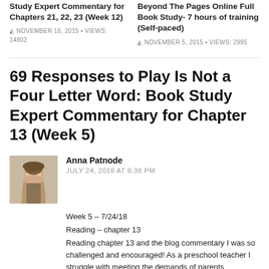Study Expert Commentary for Chapters 21, 22, 23 (Week 12)
NOVEMBER 16, 2015 • VIEWS: 14802
Beyond The Pages Online Full Book Study- 7 hours of training (Self-paced)
NOVEMBER 5, 2015 • VIEWS: 2995
69 Responses to Play Is Not a Four Letter Word: Book Study Expert Commentary for Chapter 13 (Week 5)
Anna Patnode
JULY 24, 2018 AT 8:38 PM
Week 5 – 7/24/18
Reading – chapter 13
Reading chapter 13 and the blog commentary I was so challenged and encouraged! As a preschool teacher I struggle with meeting the demands of parents demanding academise and